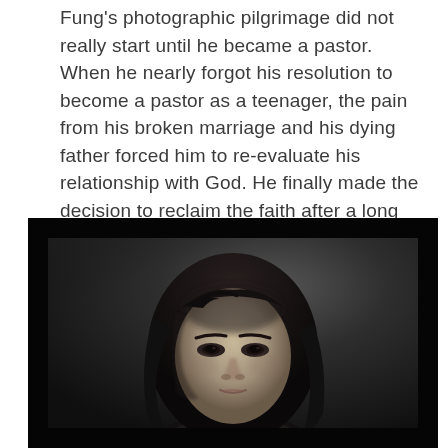Fung's photographic pilgrimage did not really start until he became a pastor. When he nearly forgot his resolution to become a pastor as a teenager, the pain from his broken marriage and his dying father forced him to re-evaluate his relationship with God. He finally made the decision to reclaim the faith after a long and intimate conversation before his father passed away. Fung was ordained to the priesthood in 2008, after seven years of study in Taiwan Theological Seminary and practice.
[Figure (photo): Black and white portrait photograph of a young Asian girl with long dark hair, looking slightly downward with a solemn expression, against a dark moody background.]